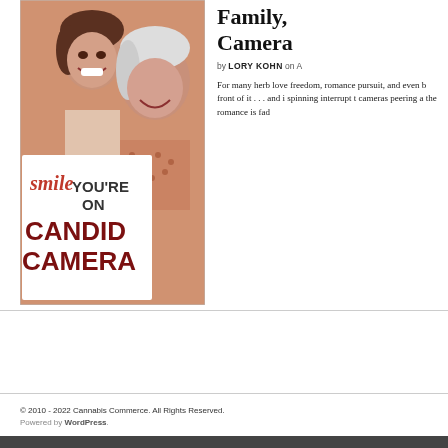[Figure (photo): Vintage photo showing a smiling woman and an older man, with a sign reading 'smile YOU'RE ON CANDID CAMERA' in bold dark red/maroon letters.]
Family, Camera
by LORY KOHN on A
For many herb love freedom, romance pursuit, and even b front of it . . . and i spinning interrupt t cameras peering a the romance is fad
© 2010 - 2022 Cannabis Commerce. All Rights Reserved. Powered by WordPress.